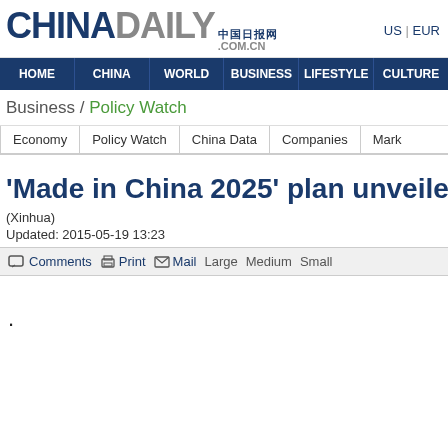CHINADAILY 中国日报网 .COM.CN  US | EUR
HOME  CHINA  WORLD  BUSINESS  LIFESTYLE  CULTURE
Business / Policy Watch
Economy  Policy Watch  China Data  Companies  Mark
'Made in China 2025' plan unveiled
(Xinhua)
Updated: 2015-05-19 13:23
Comments  Print  Mail  Large  Medium  Small
.